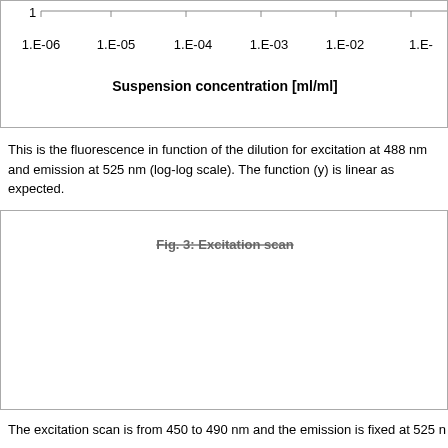[Figure (continuous-plot): Bottom portion of a log-scale chart showing fluorescence vs suspension concentration. X-axis shows values from 1.E-06 to 1.E-01 (ml/ml). X-axis label: Suspension concentration [ml/ml]. Y-axis shows value of 1 visible at top left.]
This is the fluorescence in function of the dilution for excitation at 488 nm and emission at 525 nm (log-log scale). The function (y) is linear as expected.
[Figure (continuous-plot): Top portion of a figure labeled 'Fig. 3: Excitation scan' — content is cut off, only the title is partially visible.]
The excitation scan is from 450 to 490 nm and the emission is fixed at 525 nm